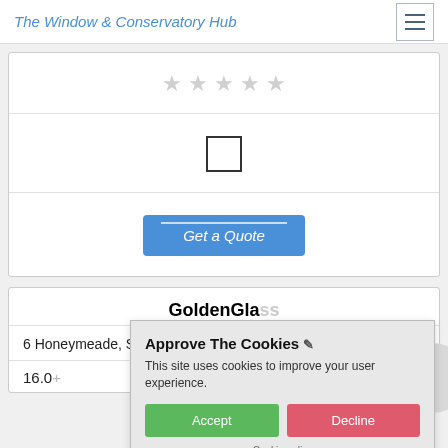The Window & Conservatory Hub
[Figure (other): Five empty star rating icons in a row]
[Figure (other): Empty checkbox icon]
Get a Quote
GoldenGlass
6 Honeymeade, Sawbridgeworth
16.0+
Approve The Cookies
This site uses cookies to improve your user experience.
Accept  Decline
Cookie policy